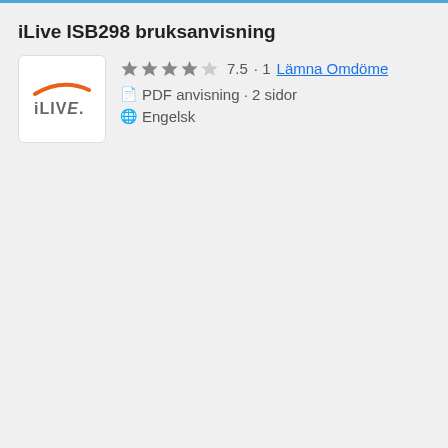iLive ISB298 bruksanvisning
[Figure (logo): iLive brand logo — orange swoosh arc above stylized 'iLIVE.' text in gray]
★★★★☆ 7.5 · 1  Lämna Omdöme
PDF anvisning · 2 sidor
Engelsk